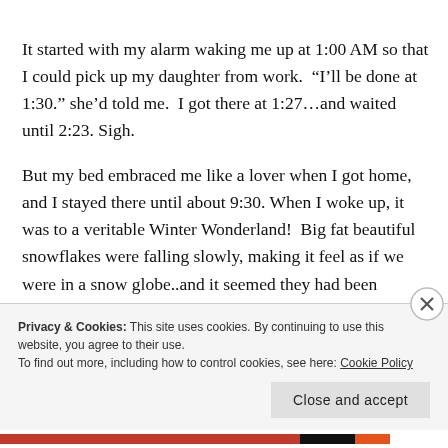It started with my alarm waking me up at 1:00 AM so that I could pick up my daughter from work.  “I’ll be done at 1:30.” she’d told me.  I got there at 1:27…and waited until 2:23. Sigh.
But my bed embraced me like a lover when I got home, and I stayed there until about 9:30. When I woke up, it was to a veritable Winter Wonderland!  Big fat beautiful snowflakes were falling slowly, making it feel as if we were in a snow globe..and it seemed they had been
Privacy & Cookies: This site uses cookies. By continuing to use this website, you agree to their use.
To find out more, including how to control cookies, see here: Cookie Policy